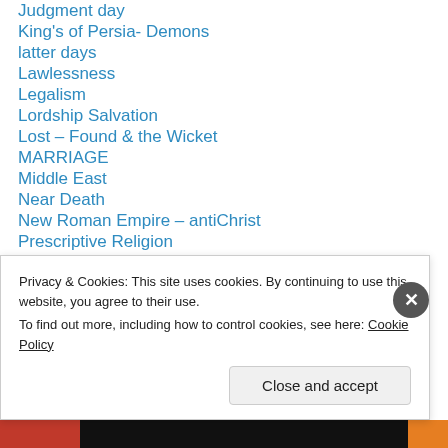Judgment day
King's of Persia- Demons
latter days
Lawlessness
Legalism
Lordship Salvation
Lost – Found & the Wicket
MARRIAGE
Middle East
Near Death
New Roman Empire – antiChrist
Prescriptive Religion
Pride
Reconciliation
Privacy & Cookies: This site uses cookies. By continuing to use this website, you agree to their use. To find out more, including how to control cookies, see here: Cookie Policy
Close and accept